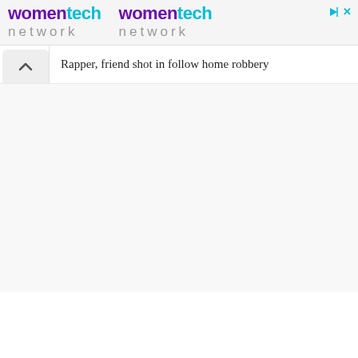[Figure (logo): WomenTech Network advertisement banner showing the logo twice side by side with purple 'women' and teal 'tech' text, and 'network' in gray lettering below each]
Rapper, friend shot in follow home robbery